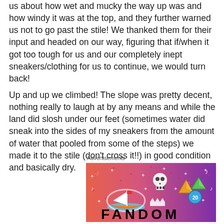us about how wet and mucky the way up was and how windy it was at the top, and they further warned us not to go past the stile!  We thanked them for their input and headed on our way, figuring that if/when it got too tough for us and our completely inept sneakers/clothing for us to continue, we would turn back!
Up and up we climbed!  The slope was pretty decent, nothing really to laugh at by any means and while the land did slosh under our feet (sometimes water did sneak into the sides of my sneakers from the amount of water that pooled from some of the steps) we made it to the stile (don't cross it!!) in good condition and basically dry.
Advertisements
[Figure (illustration): Fandom advertisement banner with colorful gradient background (pink/orange to purple), featuring a sailboat sticker, skull, dice, and other gaming/fandom icons, with the word FANDOM in bold block letters at the bottom.]